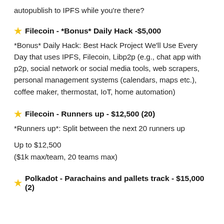autopublish to IPFS while you're there?
Filecoin - *Bonus* Daily Hack -$5,000
*Bonus* Daily Hack: Best Hack Project We'll Use Every Day that uses IPFS, Filecoin, Libp2p (e.g., chat app with p2p, social network or social media tools, web scrapers, personal management systems (calendars, maps etc.), coffee maker, thermostat, IoT, home automation)
Filecoin - Runners up - $12,500 (20)
*Runners up*: Split between the next 20 runners up
Up to $12,500
($1k max/team, 20 teams max)
Polkadot - Parachains and pallets track - $15,000 (2)